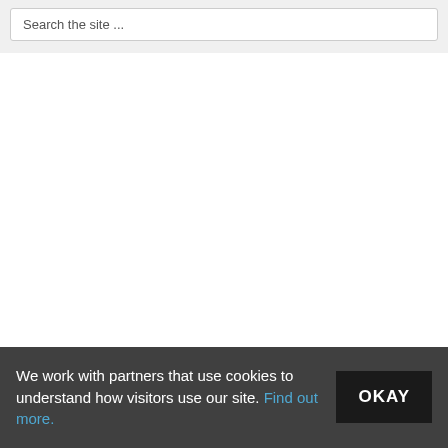Search the site ...
We work with partners that use cookies to understand how visitors use our site. Find out more.
OKAY